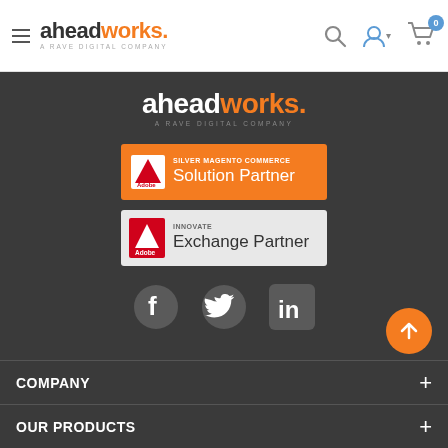[Figure (logo): Aheadworks logo - A Rave Digital Company in header]
[Figure (logo): Aheadworks footer logo - A Rave Digital Company]
[Figure (logo): Adobe Silver Magento Commerce Solution Partner badge]
[Figure (logo): Adobe Innovate Exchange Partner badge]
[Figure (infographic): Social media icons: Facebook, Twitter, LinkedIn]
COMPANY
OUR PRODUCTS